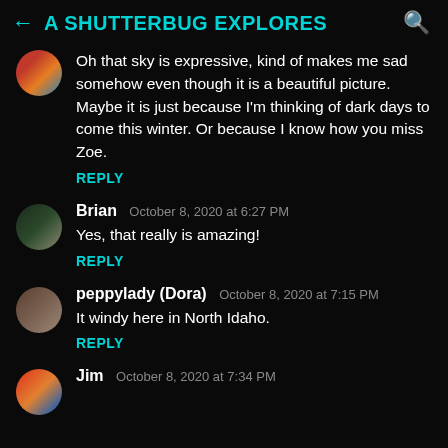A SHUTTERBUG EXPLORES
Oh that sky is expressive, kind of makes me sad somehow even though it is a beautiful picture. Maybe it is just because I'm thinking of dark days to come this winter. Or because I know how you miss Zoe.
REPLY
Brian  October 8, 2020 at 6:27 PM
Yes, that really is amazing!
REPLY
peppylady (Dora)  October 8, 2020 at 7:15 PM
It windy here in North Idaho.
REPLY
Jim  October 8, 2020 at 7:34 PM